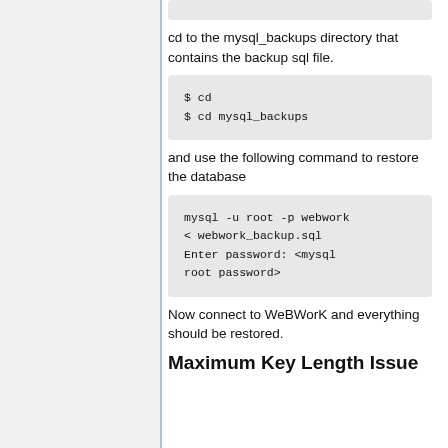cd to the mysql_backups directory that contains the backup sql file.
$ cd
$ cd mysql_backups
and use the following command to restore the database
mysql -u root -p webwork < webwork_backup.sql Enter password: <mysql root password>
Now connect to WeBWorK and everything should be restored.
Maximum Key Length Issue